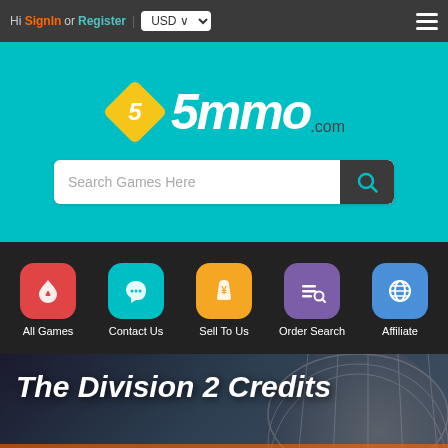Hi SignIn or Register | USD  ☰
[Figure (logo): 5mmo.com logo with yellow diamond shape containing number 5, white italic text '5mmo' and '.com' on teal background]
Search Games Here
[Figure (infographic): Navigation icons row: All Games (red, flame icon), Contact Us (teal, headset icon), Sell To Us (orange, bag icon), Order Search (purple, search icon), Affiliate (blue, globe icon)]
The Division 2 Credits
SELL TO US
5.0
Based on the total ratings of orders in the past days
THE DIVISION 2 CREDITS